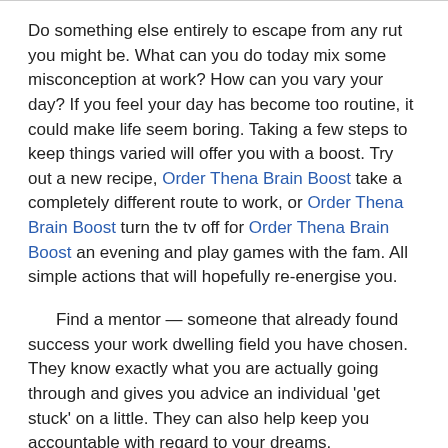Do something else entirely to escape from any rut you might be. What can you do today mix some misconception at work? How can you vary your day? If you feel your day has become too routine, it could make life seem boring. Taking a few steps to keep things varied will offer you with a boost. Try out a new recipe, Order Thena Brain Boost take a completely different route to work, or Order Thena Brain Boost turn the tv off for Order Thena Brain Boost an evening and play games with the fam. All simple actions that will hopefully re-energise you.
Find a mentor — someone that already found success your work dwelling field you have chosen. They know exactly what you are actually going through and gives you advice an individual 'get stuck' on a little. They can also help keep you accountable with regard to your dreams.